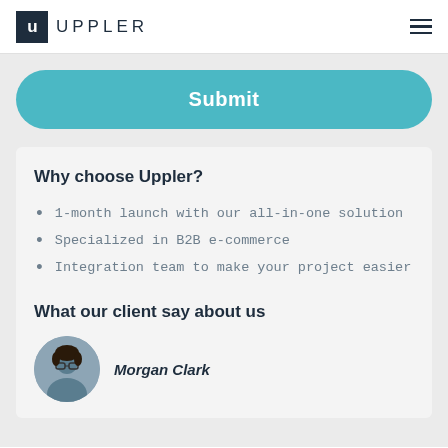UPPLER
Submit
Why choose Uppler?
1-month launch with our all-in-one solution
Specialized in B2B e-commerce
Integration team to make your project easier
What our client say about us
Morgan Clark